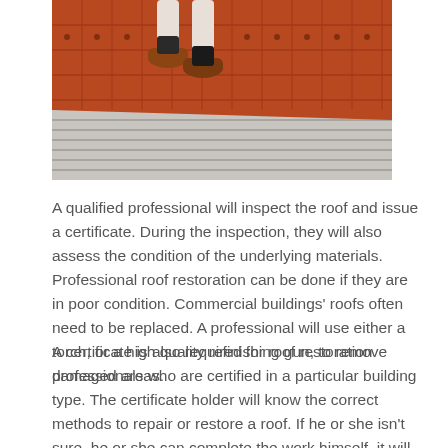[Figure (photo): A person wearing brown shoes and dark socks walking on a colorful tiled roof with red/orange tiles and grey corrugated sections visible.]
A qualified professional will inspect the roof and issue a certificate. During the inspection, they will also assess the condition of the underlying materials. Professional roof restoration can be done if they are in poor condition. Commercial buildings' roofs often need to be replaced. A professional will use either a torch, or a high quality refinishing gun, to remove damaged areas.
A certificate is also required for roof restoration professionals who are certified in a particular building type. The certificate holder will know the correct methods to repair or restore a roof. If he or she isn't sure, he or she can complete the work himself, it will save the owner a lot of money. A qualified roofer will also know how the building should be maintained. This is